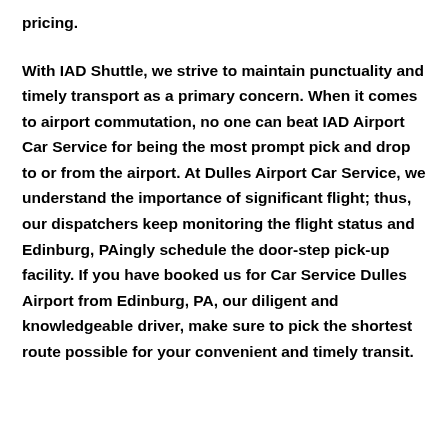pricing.
With IAD Shuttle, we strive to maintain punctuality and timely transport as a primary concern. When it comes to airport commutation, no one can beat IAD Airport Car Service for being the most prompt pick and drop to or from the airport. At Dulles Airport Car Service, we understand the importance of significant flight; thus, our dispatchers keep monitoring the flight status and Edinburg, PAingly schedule the door-step pick-up facility. If you have booked us for Car Service Dulles Airport from Edinburg, PA, our diligent and knowledgeable driver, make sure to pick the shortest route possible for your convenient and timely transit.